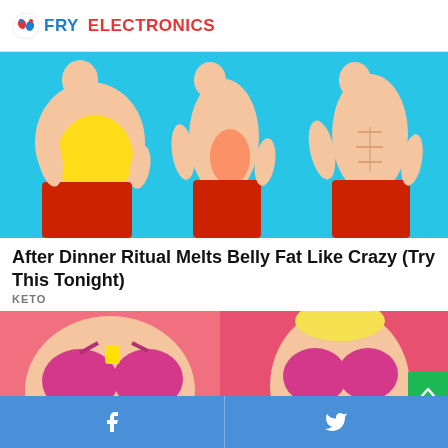FRY ELECTRONICS
[Figure (illustration): Three side-profile cartoon illustrations of a male figure on a cyan/blue background showing progressive belly fat loss stages: first figure with large yellow belly, second figure slimmer, third figure with visible abs. All wearing red pants.]
After Dinner Ritual Melts Belly Fat Like Crazy (Try This Tonight)
KETO
[Figure (illustration): Cartoon illustration of a woman in a pink/magenta bra on a pink background, shown before and after, partially cropped at bottom of page.]
Facebook share | Twitter share